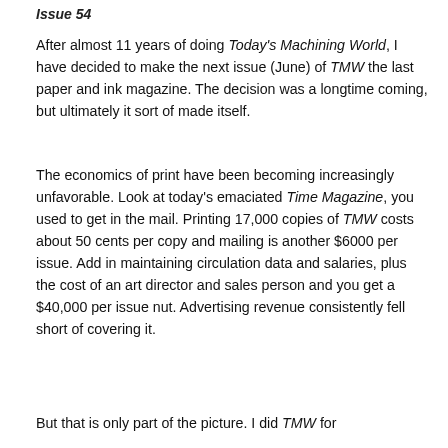Issue 54
After almost 11 years of doing Today's Machining World, I have decided to make the next issue (June) of TMW the last paper and ink magazine. The decision was a longtime coming, but ultimately it sort of made itself.
The economics of print have been becoming increasingly unfavorable. Look at today's emaciated Time Magazine, you used to get in the mail. Printing 17,000 copies of TMW costs about 50 cents per copy and mailing is another $6000 per issue. Add in maintaining circulation data and salaries, plus the cost of an art director and sales person and you get a $40,000 per issue nut. Advertising revenue consistently fell short of covering it.
But that is only part of the picture. I did TMW for